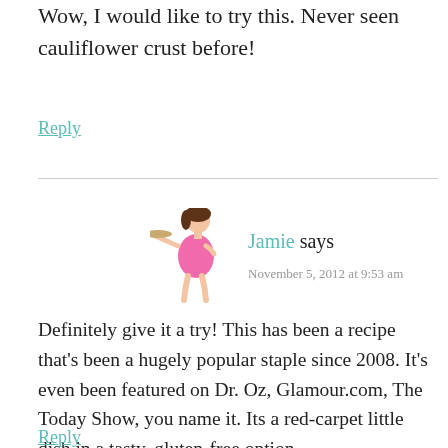Wow, I would like to try this. Never seen cauliflower crust before!
Reply
Jamie says
November 5, 2012 at 9:53 am
Definitely give it a try! This has been a recipe that's been a hugely popular staple since 2008. It's even been featured on Dr. Oz, Glamour.com, The Today Show, you name it. Its a red-carpet little dish in a tasty, gluten-free option.
Reply